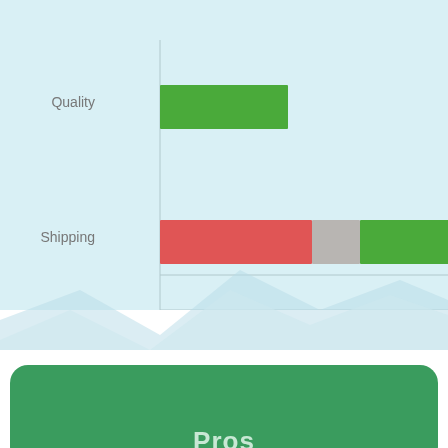[Figure (stacked-bar-chart): Quality and Shipping ratings]
Pros